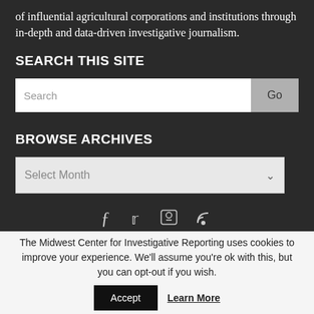of influential agricultural corporations and institutions through in-depth and data-driven investigative journalism.
SEARCH THIS SITE
Search [input] Go [button]
BROWSE ARCHIVES
Select Month [dropdown]
[Figure (infographic): Social media icons: Facebook, Twitter, and two others on dark background]
The Midwest Center for Investigative Reporting uses cookies to improve your experience. We'll assume you're ok with this, but you can opt-out if you wish. Accept Learn More